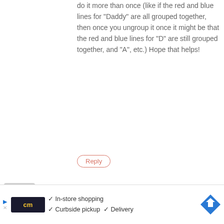do it more than once (like if the red and blue lines for "Daddy" are all grouped together, then once you ungroup it once it might be that the red and blue lines for "D" are still grouped together, and "A", etc.) Hope that helps!
Reply
Taysha Riggs says:
June 14, 2016 at 12:57 pm
Great idea!! One question.. what brand paper did you use. I love my Portrait but am having trouble finding the right paper for projects, would love some recommendations
Reply
Meredith says:
June 14, 2016 at 9:18 pm